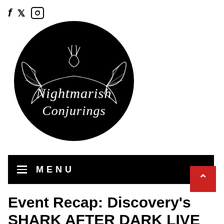f  ✦  ☎
[Figure (logo): Nightmarish Conjurings logo — circular black badge with white line art of a winged creature with antlers/horns spreading wings across the top, and stylized cursive text reading 'Nightmarish Conjurings' in the center]
≡  MENU
Event Recap: Discovery's SHARK AFTER DARK LIVE